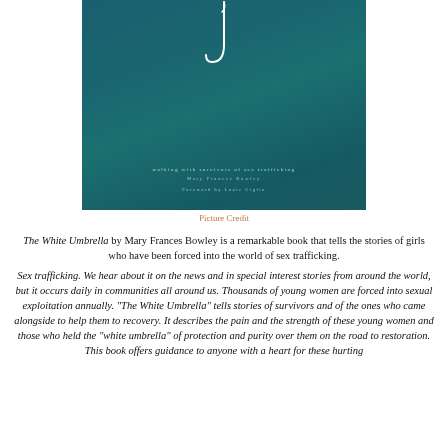[Figure (illustration): Book cover of 'The White Umbrella' showing a teal/dark teal underwater-style background with a white fish hook forming the letter J, subtitle 'walking with survivors of sex trafficking', author Mary Frances Bowley, Foreword by Louie Giglio]
Picture Credit
The White Umbrella by Mary Frances Bowley is a remarkable book that tells the stories of girls who have been forced into the world of sex trafficking.
Sex trafficking. We hear about it on the news and in special interest stories from around the world, but it occurs daily in communities all around us. Thousands of young women are forced into sexual exploitation annually. "The White Umbrella" tells stories of survivors and of the ones who came alongside to help them to recovery. It describes the pain and the strength of these young women and those who held the "white umbrella" of protection and purity over them on the road to restoration. This book offers guidance to anyone with a heart for these hurting